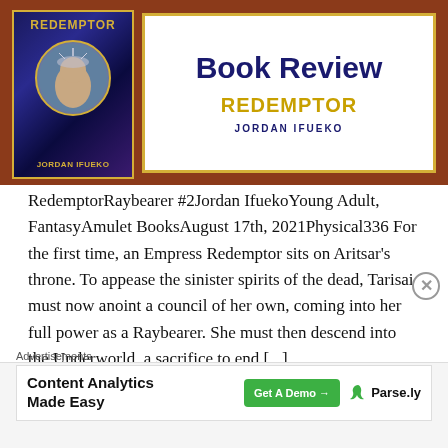[Figure (illustration): Book review banner with a dark blue fantasy book cover on the left showing 'REDEMPTOR' title and author 'JORDAN IFUEKO' with a circular portrait illustration, and a white box on the right with gold border showing 'Book Review' header, 'REDEMPTOR' subtitle in gold, and 'JORDAN IFUEKO' in navy. Brown/rust colored background.]
RedemptorRaybearer #2Jordan IfuekoYoung Adult, FantasyAmulet BooksAugust 17th, 2021Physical336 For the first time, an Empress Redemptor sits on Aritsar's throne. To appease the sinister spirits of the dead, Tarisai must now anoint a council of her own, coming into her full power as a Raybearer. She must then descend into the Underworld, a sacrifice to end [...]
Advertisements
[Figure (screenshot): Advertisement banner: 'Content Analytics Made Easy' with a green 'Get A Demo →' button and Parse.ly logo with green leaf icon.]